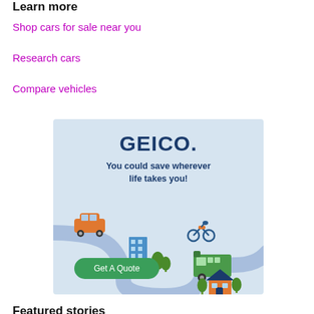Learn more
Shop cars for sale near you
Research cars
Compare vehicles
[Figure (illustration): GEICO advertisement banner showing logo, tagline 'You could save wherever life takes you!', illustrated road with car, motorcycle, building, trees, RV/camper, house, and a 'Get A Quote' button on a light blue background.]
Featured stories